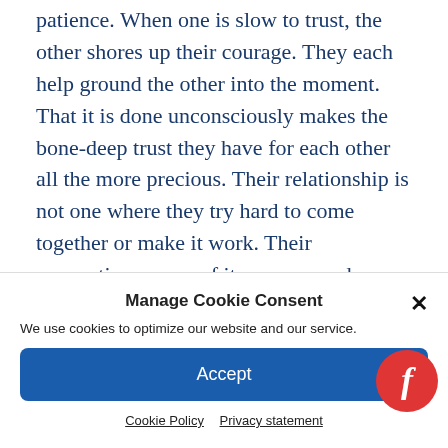patience. When one is slow to trust, the other shores up their courage. They each help ground the other into the moment. That it is done unconsciously makes the bone-deep trust they have for each other all the more precious. Their relationship is not one where they try hard to come together or make it work. Their connection comes of its own accord. as
Manage Cookie Consent
We use cookies to optimize our website and our service.
Accept
Cookie Policy   Privacy statement